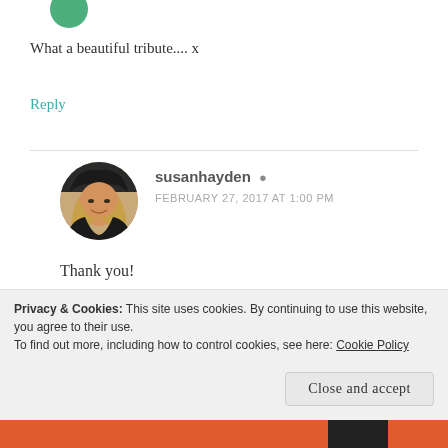[Figure (photo): Partial green circle avatar at top left]
What a beautiful tribute.... x
Reply
[Figure (photo): Circular profile photo of susanhayden — woman with long blonde hair]
susanhayden
FEBRUARY 27, 2017 AT 1:00 PM
Thank you!
Reply
Privacy & Cookies: This site uses cookies. By continuing to use this website, you agree to their use.
To find out more, including how to control cookies, see here: Cookie Policy
Close and accept